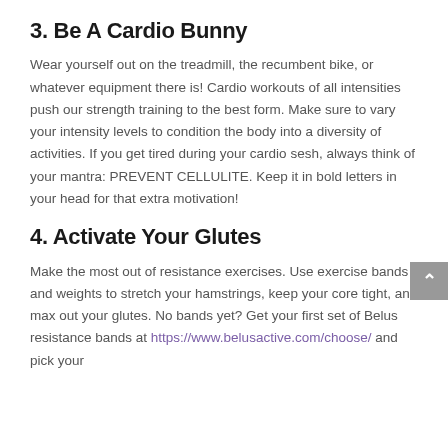3. Be A Cardio Bunny
Wear yourself out on the treadmill, the recumbent bike, or whatever equipment there is! Cardio workouts of all intensities push our strength training to the best form. Make sure to vary your intensity levels to condition the body into a diversity of activities. If you get tired during your cardio sesh, always think of your mantra: PREVENT CELLULITE. Keep it in bold letters in your head for that extra motivation!
4. Activate Your Glutes
Make the most out of resistance exercises. Use exercise bands and weights to stretch your hamstrings, keep your core tight, and max out your glutes. No bands yet? Get your first set of Belus resistance bands at https://www.belusactive.com/choose/ and pick your